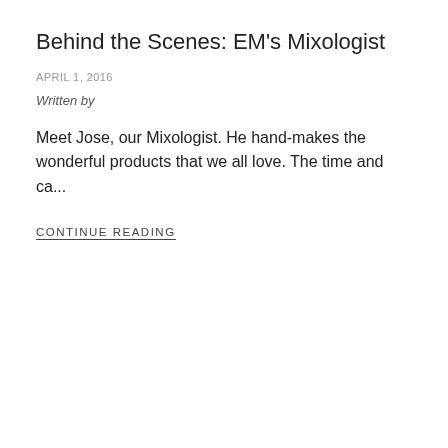Behind the Scenes: EM's Mixologist
APRIL 1, 2016
Written by
Meet Jose, our Mixologist. He hand-makes the wonderful products that we all love. The time and ca...
CONTINUE READING